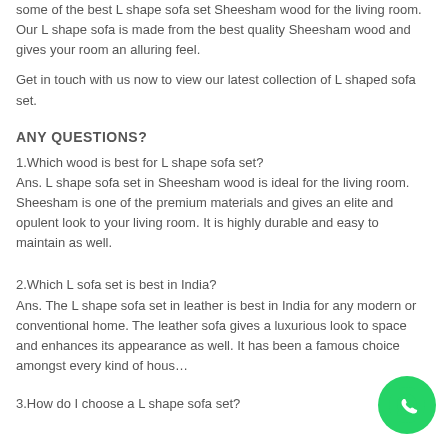some of the best L shape sofa set Sheesham wood for the living room. Our L shape sofa is made from the best quality Sheesham wood and gives your room an alluring feel.
Get in touch with us now to view our latest collection of L shaped sofa set.
ANY QUESTIONS?
1.Which wood is best for L shape sofa set?
Ans. L shape sofa set in Sheesham wood is ideal for the living room. Sheesham is one of the premium materials and gives an elite and opulent look to your living room. It is highly durable and easy to maintain as well.
2.Which L sofa set is best in India?
Ans. The L shape sofa set in leather is best in India for any modern or conventional home. The leather sofa gives a luxurious look to space and enhances its appearance as well. It has been a famous choice amongst every kind of hous…
3.How do I choose a L shape sofa set?